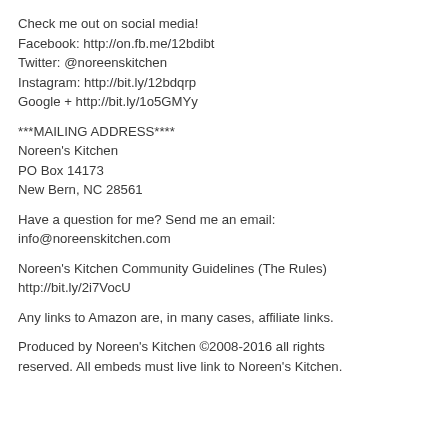Check me out on social media!
Facebook: http://on.fb.me/12bdibt
Twitter: @noreenskitchen
Instagram: http://bit.ly/12bdqrp
Google + http://bit.ly/1o5GMYy
***MAILING ADDRESS****
Noreen's Kitchen
PO Box 14173
New Bern, NC 28561
Have a question for me? Send me an email:
info@noreenskitchen.com
Noreen's Kitchen Community Guidelines (The Rules)
http://bit.ly/2i7VocU
Any links to Amazon are, in many cases, affiliate links.
Produced by Noreen's Kitchen ©2008-2016 all rights reserved. All embeds must live link to Noreen's Kitchen.